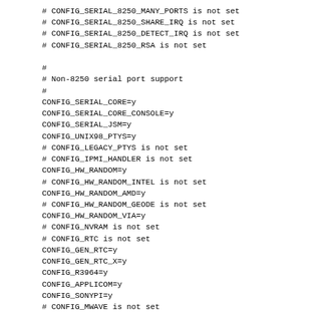# CONFIG_SERIAL_8250_MANY_PORTS is not set
# CONFIG_SERIAL_8250_SHARE_IRQ is not set
# CONFIG_SERIAL_8250_DETECT_IRQ is not set
# CONFIG_SERIAL_8250_RSA is not set

#
# Non-8250 serial port support
#
CONFIG_SERIAL_CORE=y
CONFIG_SERIAL_CORE_CONSOLE=y
CONFIG_SERIAL_JSM=y
CONFIG_UNIX98_PTYS=y
# CONFIG_LEGACY_PTYS is not set
# CONFIG_IPMI_HANDLER is not set
CONFIG_HW_RANDOM=y
# CONFIG_HW_RANDOM_INTEL is not set
CONFIG_HW_RANDOM_AMD=y
# CONFIG_HW_RANDOM_GEODE is not set
CONFIG_HW_RANDOM_VIA=y
# CONFIG_NVRAM is not set
# CONFIG_RTC is not set
CONFIG_GEN_RTC=y
CONFIG_GEN_RTC_X=y
CONFIG_R3964=y
CONFIG_APPLICOM=y
CONFIG_SONYPI=y
# CONFIG_MWAVE is not set
# CONFIG_SCx200_GPIO is not set
# CONFIG_PC8736x_GPIO is not set
CONFIG_NSC_GPIO=y